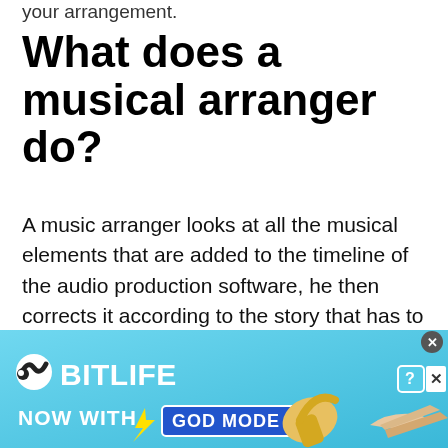your arrangement.
What does a musical arranger do?
A music arranger looks at all the musical elements that are added to the timeline of the audio production software, he then corrects it according to the story that has to be conveyed. He also makes sure that the arrangement is not overpowering the message that is
[Figure (screenshot): BitLife advertisement banner with light blue background. Shows BitLife logo with snake icon, text 'NOW WITH GOD MODE' in blue box, lightning bolt icon, pointing hand and finger illustrations. Close/dismiss buttons in top right corner.]